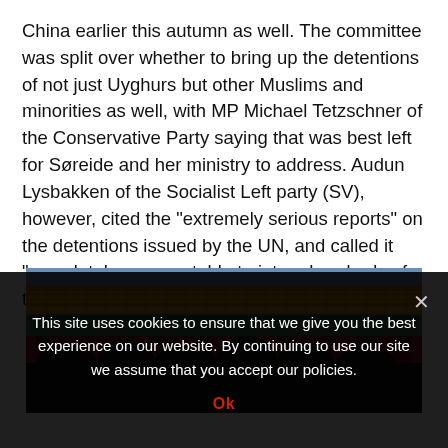China earlier this autumn as well. The committee was split over whether to bring up the detentions of not just Uyghurs but other Muslims and minorities as well, with MP Michael Tetzschner of the Conservative Party saying that was best left for Søreide and her ministry to address. Audun Lysbakken of the Socialist Left party (SV), however, cited the “extremely serious reports” on the detentions issued by the UN, and called it “completely unacceptable to intern hundreds of thousands of people in reeducation centers.”
[Figure (photo): Photo of a traditional Chinese palace building with ornate golden roof tiles and decorated eaves, with dark silhouettes of people or structures at the bottom.]
This site uses cookies to ensure that we give you the best experience on our website. By continuing to use our site we assume that you accept our policies.